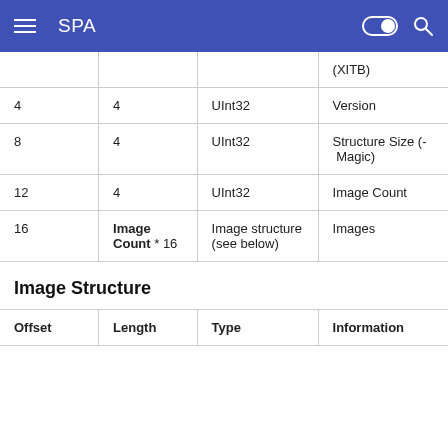SPA
| Offset | Length | Type | Information |
| --- | --- | --- | --- |
|  |  |  | (XITB) |
| 4 | 4 | UInt32 | Version |
| 8 | 4 | UInt32 | Structure Size (- Magic) |
| 12 | 4 | UInt32 | Image Count |
| 16 | Image Count * 16 | Image structure (see below) | Images |
Image Structure
| Offset | Length | Type | Information |
| --- | --- | --- | --- |